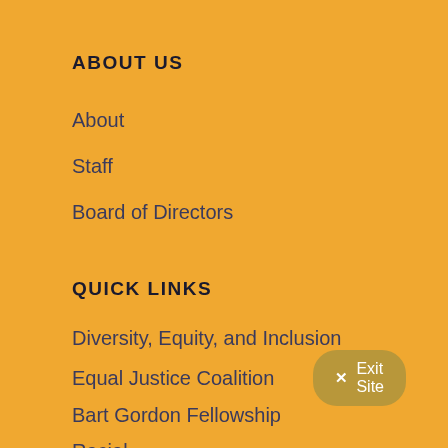ABOUT US
About
Staff
Board of Directors
QUICK LINKS
Diversity, Equity, and Inclusion
Equal Justice Coalition
Bart Gordon Fellowship
Racial Justice Fellowship
✕ Exit Site